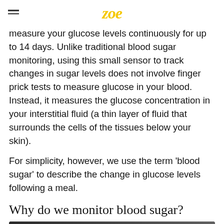zoe
measure your glucose levels continuously for up to 14 days. Unlike traditional blood sugar monitoring, using this small sensor to track changes in sugar levels does not involve finger prick tests to measure glucose in your blood. Instead, it measures the glucose concentration in your interstitial fluid (a thin layer of fluid that surrounds the cells of the tissues below your skin).
For simplicity, however, we use the term 'blood sugar' to describe the change in glucose levels following a meal.
Why do we monitor blood sugar?
[Figure (screenshot): Video thumbnail showing ZOE logo badge and text 'What does a blood sugar sensor te...' on dark background]